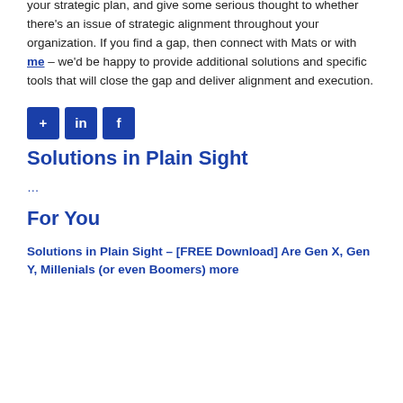your strategic plan, and give some serious thought to whether there's an issue of strategic alignment throughout your organization. If you find a gap, then connect with Mats or with me – we'd be happy to provide additional solutions and specific tools that will close the gap and deliver alignment and execution.
[Figure (other): Three social sharing buttons: a blue plus (+) button, a blue LinkedIn (in) button, and a blue Facebook (f) button]
Solutions in Plain Sight
…
For You
Solutions in Plain Sight – [FREE Download] Are Gen X, Gen Y, Millenials (or even Boomers) more